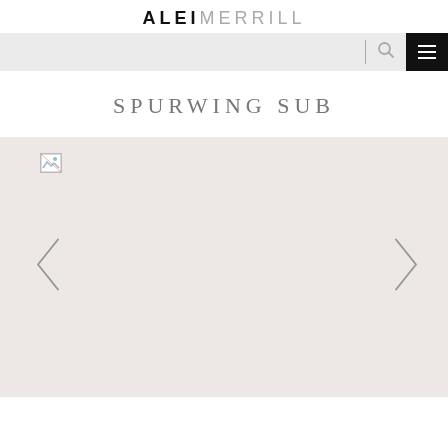ALEI MERRILL
SPURWING SUB
[Figure (photo): Broken image placeholder in top-left of a light pink/beige slideshow area with left and right navigation arrows]